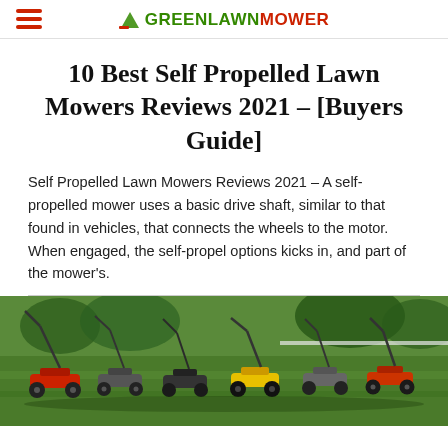GREEN LAWN MOWER
10 Best Self Propelled Lawn Mowers Reviews 2021 – [Buyers Guide]
Self Propelled Lawn Mowers Reviews 2021 – A self-propelled mower uses a basic drive shaft, similar to that found in vehicles, that connects the wheels to the motor. When engaged, the self-propel options kicks in, and part of the mower's.
[Figure (photo): Multiple self-propelled lawn mowers lined up on a green lawn, viewed from the side/rear, showing various brands including red and yellow models.]